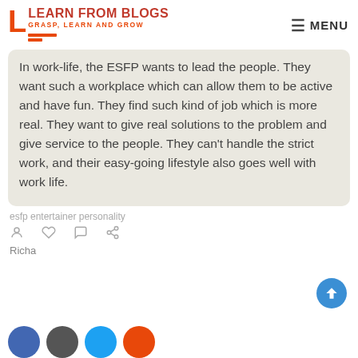LEARN FROM BLOGS — GRASP, LEARN AND GROW | MENU
In work-life, the ESFP wants to lead the people. They want such a workplace which can allow them to be active and have fun. They find such kind of job which is more real. They want to give real solutions to the problem and give service to the people. They can't handle the strict work, and their easy-going lifestyle also goes well with work life.
esfp entertainer personality
Richa